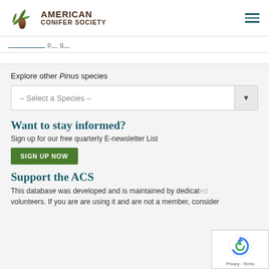AMERICAN CONIFER SOCIETY
Explore other Pinus species
– Select a Species –
Want to stay informed?
Sign up for our free quarterly E-newsletter List
SIGN UP NOW
Support the ACS
This database was developed and is maintained by dedicated volunteers. If you are are using it and are not a member, consider